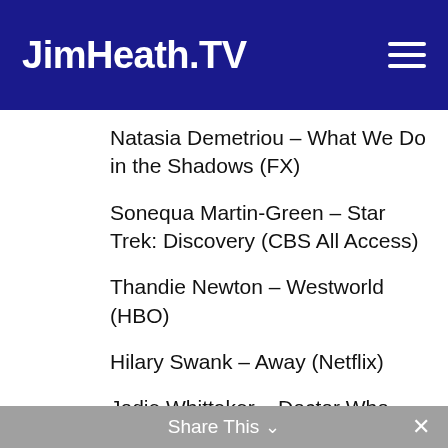JimHeath.TV
Natasia Demetriou – What We Do in the Shadows (FX)
Sonequa Martin-Green – Star Trek: Discovery (CBS All Access)
Thandie Newton – Westworld (HBO)
Hilary Swank – Away (Netflix)
Jodie Whittaker – Doctor Who (BBC America)
BEST VILLAIN IN A SERIES
Share This ✓  ✕